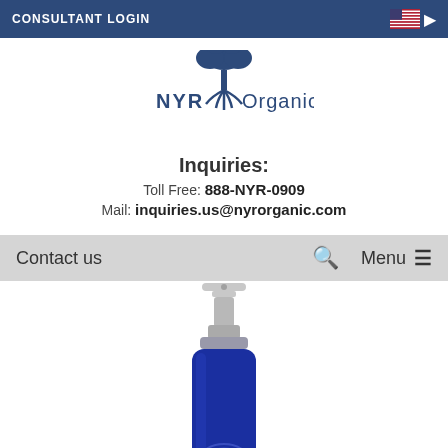CONSULTANT LOGIN
[Figure (logo): NYR Organic logo with tree symbol]
Inquiries:
Toll Free: 888-NYR-0909
Mail: inquiries.us@nyrorganic.com
Contact us | Search | Menu
[Figure (photo): Blue glass spray bottle product photo, showing silver pump top and cobalt blue glass bottle body]